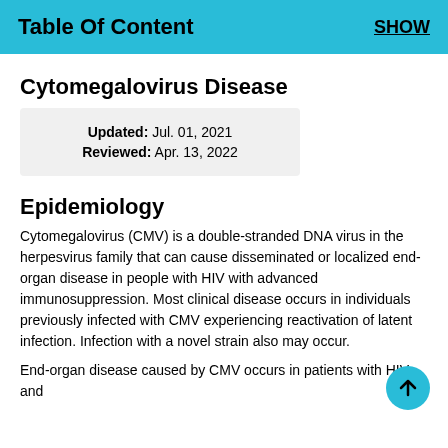Table Of Content   SHOW
Cytomegalovirus Disease
| Updated: | Jul. 01, 2021 |
| Reviewed: | Apr. 13, 2022 |
Epidemiology
Cytomegalovirus (CMV) is a double-stranded DNA virus in the herpesvirus family that can cause disseminated or localized end-organ disease in people with HIV with advanced immunosuppression. Most clinical disease occurs in individuals previously infected with CMV experiencing reactivation of latent infection. Infection with a novel strain also may occur.
End-organ disease caused by CMV occurs in patients with HIV and